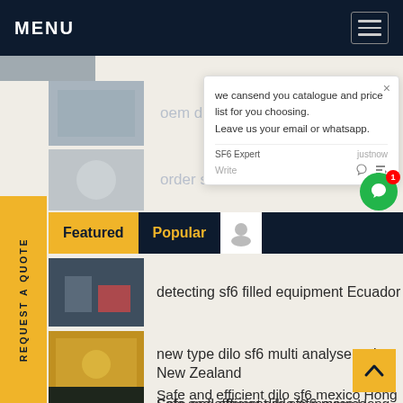MENU
oem dilo products New Zealand
order sulfur hexafluoride ... bia
Featured | Popular
detecting sf6 filled equipment Ecuador
new type dilo sf6 multi analyser price New Zealand
Safe and efficient dilo sf6 mexico Hong
we cansend you catalogue and price list for you choosing. Leave us your email or whatsapp.
SF6 Expert  justnow
Write